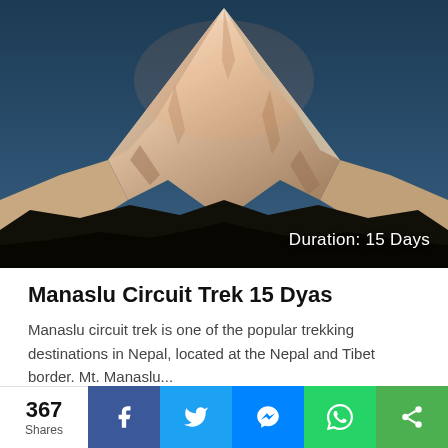[Figure (photo): Snow-capped Manaslu mountain peak with warm alpenglow against a deep blue sky, dark silhouetted foreground hills. Text overlay at bottom-right: 'Duration: 15 Days']
Manaslu Circuit Trek 15 Dyas
Manaslu circuit trek is one of the popular trekking destinations in Nepal, located at the Nepal and Tibet border. Mt. Manaslu...
367 Shares — Facebook, Twitter, Messenger, WhatsApp, Share buttons